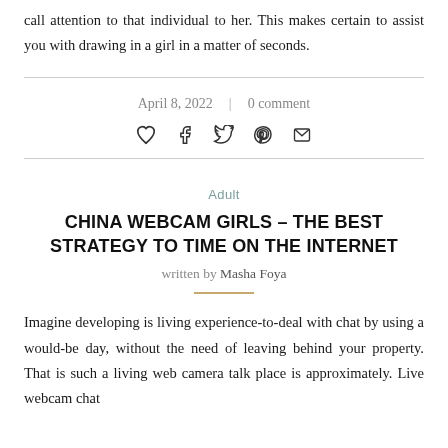call attention to that individual to her. This makes certain to assist you with drawing in a girl in a matter of seconds.
April 8, 2022  |  0 comment
[Figure (other): Social sharing icons: heart, facebook, twitter, pinterest, email]
Adult
CHINA WEBCAM GIRLS – THE BEST STRATEGY TO TIME ON THE INTERNET
written by Masha Foya
Imagine developing is living experience-to-deal with chat by using a would-be day, without the need of leaving behind your property. That is such a living web camera talk place is approximately. Live webcam chat